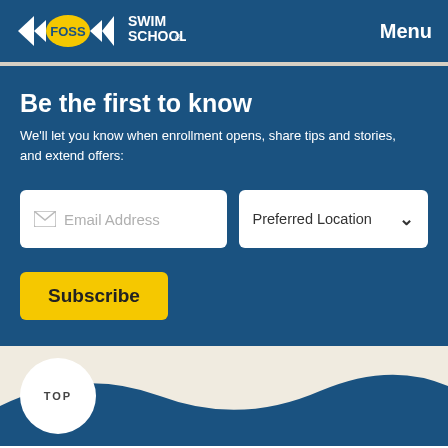FOSS SWIM SCHOOL  Menu
Be the first to know
We'll let you know when enrollment opens, share tips and stories, and extend offers:
Email Address  |  Preferred Location  [Subscribe]